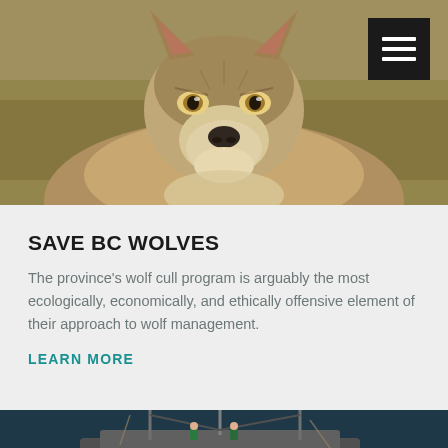[Figure (photo): Close-up photograph of a gray wolf looking forward, with blurred natural background of grass and rocks]
SAVE BC WOLVES
The province's wolf cull program is arguably the most ecologically, economically, and ethically offensive element of their approach to wolf management.
LEARN MORE
[Figure (photo): Photograph of fishing boats on dark ocean water with equipment and crew visible]